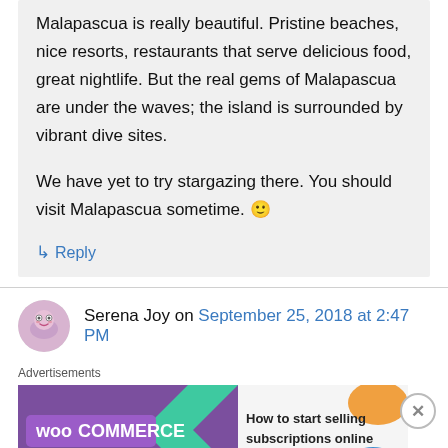Malapascua is really beautiful. Pristine beaches, nice resorts, restaurants that serve delicious food, great nightlife. But the real gems of Malapascua are under the waves; the island is surrounded by vibrant dive sites.

We have yet to try stargazing there. You should visit Malapascua sometime. 🙂
↳ Reply
Serena Joy on September 25, 2018 at 2:47 PM
[Figure (other): WooCommerce advertisement banner: 'How to start selling subscriptions online']